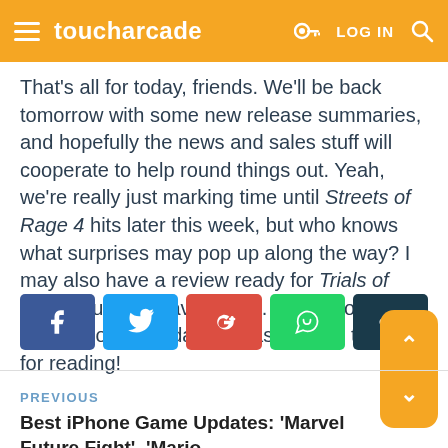toucharcade  LOG IN
That's all for today, friends. We'll be back tomorrow with some new release summaries, and hopefully the news and sales stuff will cooperate to help round things out. Yeah, we're really just marking time until Streets of Rage 4 hits later this week, but who knows what surprises may pop up along the way? I may also have a review ready for Trials of Mana, but we'll have to see. I hope you all have a solid Monday, and as always, thanks for reading!
[Figure (infographic): Social share buttons: Facebook (blue), Twitter (light blue), Google+ (red), WhatsApp (green), Share (dark teal)]
PREVIOUS
Best iPhone Game Updates: 'Marvel Future Fight', 'Mario